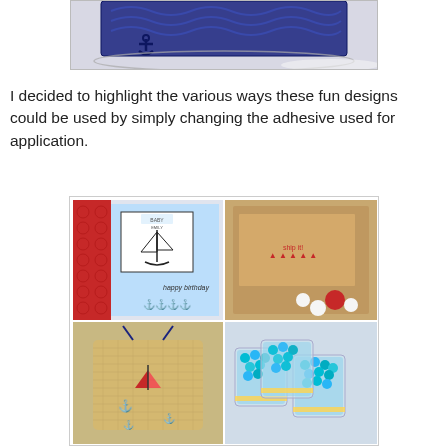[Figure (photo): Partial view of a navy blue crocheted/lace item with anchor motif on a glass plate, white background]
I decided to highlight the various ways these fun designs could be used by simply changing the adhesive used for application.
[Figure (photo): Four-panel collage of nautical craft projects: top-left shows a birthday card with sailboat and anchor stamps, top-right shows a kraft paper card/box with red sailboat rubber stamps, bottom-left shows a burlap drawstring bag with anchor and sailboat stamps, bottom-right shows three glass cups filled with blue candies decorated with gold anchor charms]